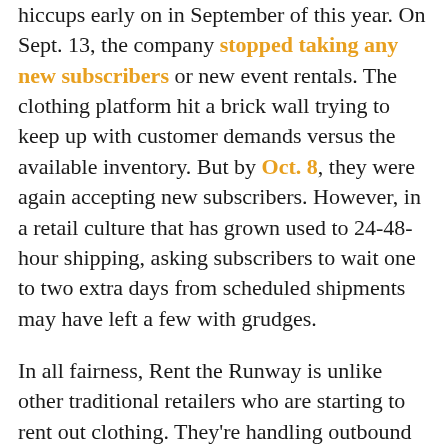hiccups early on in September of this year. On Sept. 13, the company stopped taking any new subscribers or new event rentals. The clothing platform hit a brick wall trying to keep up with customer demands versus the available inventory. But by Oct. 8, they were again accepting new subscribers. However, in a retail culture that has grown used to 24-48-hour shipping, asking subscribers to wait one to two extra days from scheduled shipments may have left a few with grudges.
In all fairness, Rent the Runway is unlike other traditional retailers who are starting to rent out clothing. They're handling outbound shipments, dry cleaning, inspections and returns. If anyone from the subscriber to the warehouse logistics team is behind schedule, this would affect the next subscriber's order. And sometimes it hits the higher-ups, too.